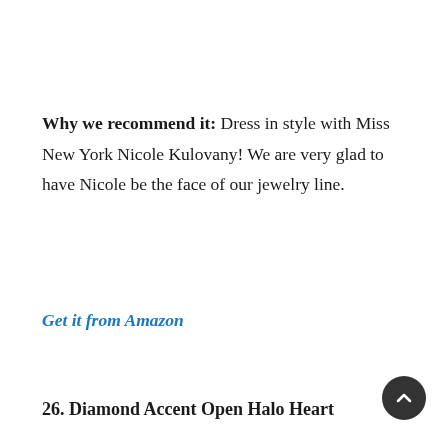Why we recommend it: Dress in style with Miss New York Nicole Kulovany! We are very glad to have Nicole be the face of our jewelry line.
Get it from Amazon
26. Diamond Accent Open Halo Heart